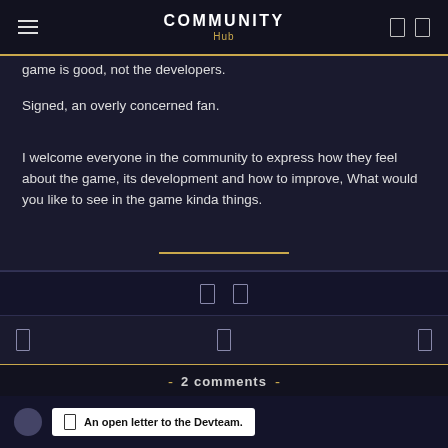COMMUNITY Hub
game is good, not the developers.
Signed, an overly concerned fan.
I welcome everyone in the community to express how they feel about the game, its development and how to improve, What would you like to see in the game kinda things.
- 2 comments -
Newest   Oldest   Best
An open letter to the Devteam.